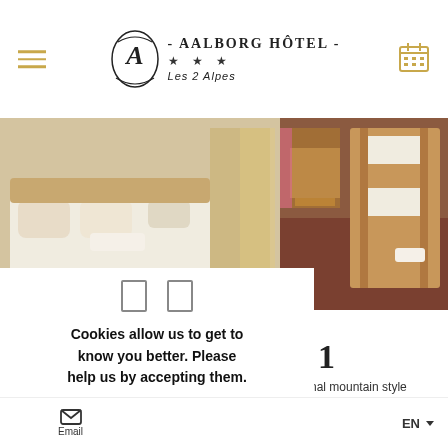Aalborg Hôtel - Les 2 Alpes
[Figure (photo): Hotel room photo showing beds with white linens, pillows, wooden furniture and bunk beds with dark carpet flooring]
Cookies allow us to get to know you better. Please help us by accepting them.
✓ i agree to support you
✗ i refuse
personalize
nal mountain style your privacy.
Email  EN